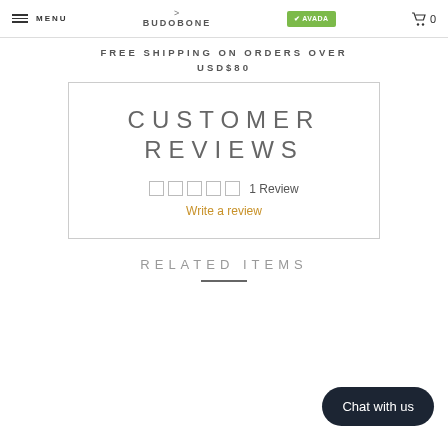MENU | BUDOBONE logo | AVADA | Cart 0
FREE SHIPPING ON ORDERS OVER USD$80
CUSTOMER REVIEWS
☐ ☐ ☐ ☐ ☐ 1 Review
Write a review
RELATED ITEMS
Chat with us